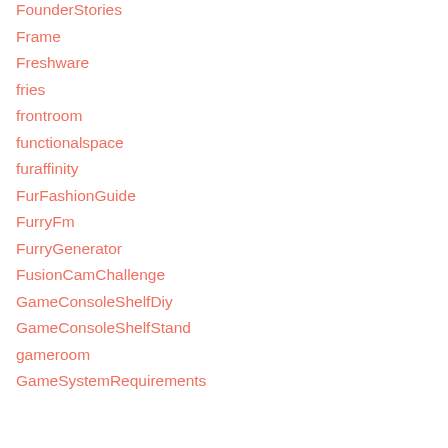FounderStories
Frame
Freshware
fries
frontroom
functionalspace
furaffinity
FurFashionGuide
FurryFm
FurryGenerator
FusionCamChallenge
GameConsoleShelfDiy
GameConsoleShelfStand
gameroom
GameSystemRequirements